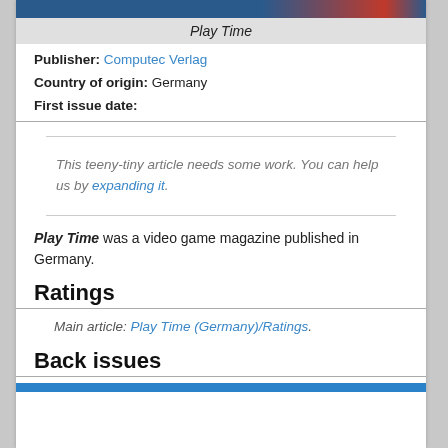[Figure (photo): Partial image of Play Time magazine cover with blue and red elements at the top]
Play Time
Publisher: Computec Verlag
Country of origin: Germany
First issue date:
This teeny-tiny article needs some work. You can help us by expanding it.
Play Time was a video game magazine published in Germany.
Ratings
Main article: Play Time (Germany)/Ratings.
Back issues